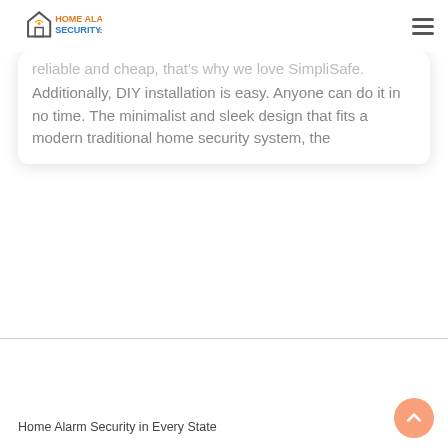HOME ALARM SECURITY.org
reliable and cheap, that's why we love SimpliSafe. Additionally, DIY installation is easy. Anyone can do it in no time. The minimalist and sleek design that fits a modern traditional home security system, the
Home Alarm Security in Every State